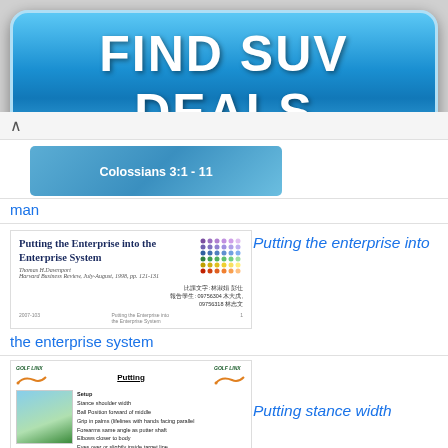[Figure (infographic): Blue rounded button banner with text FIND SUV DEALS in bold white letters]
[Figure (screenshot): Screenshot of a presentation slide showing Colossians 3:1-11 title slide with teal/blue gradient background]
man
[Figure (screenshot): Screenshot of academic paper: Putting the Enterprise into the Enterprise System by Thomas H. Davenport, Harvard Business Review, July-August 1998, pp. 121-131 with dot-grid logo and Chinese text]
Putting the enterprise into
the enterprise system
[Figure (screenshot): Golf Linx putting instruction sheet with Setup details and golfer image]
Putting stance width